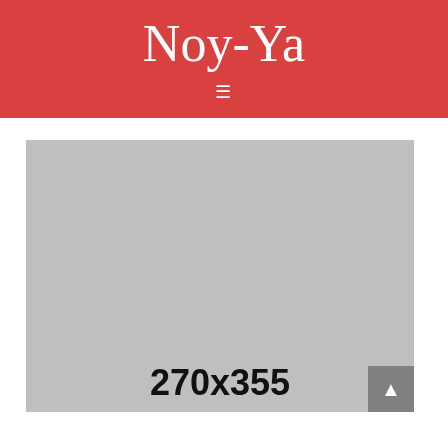Noy-Ya
[Figure (screenshot): Navigation hamburger menu icon (three horizontal lines) in white on red background]
[Figure (photo): Gray placeholder image with dimensions 270x355 displayed in text]